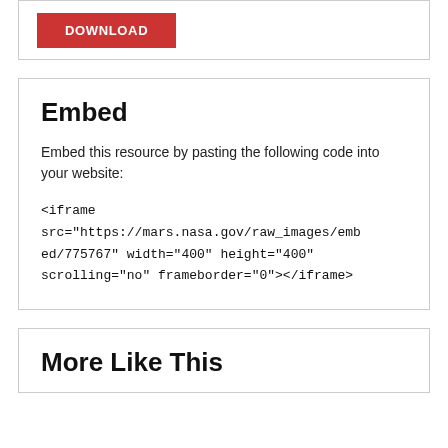DOWNLOAD
Embed
Embed this resource by pasting the following code into your website:
<iframe src="https://mars.nasa.gov/raw_images/embed/775767" width="400" height="400" scrolling="no" frameborder="0"></iframe>
More Like This